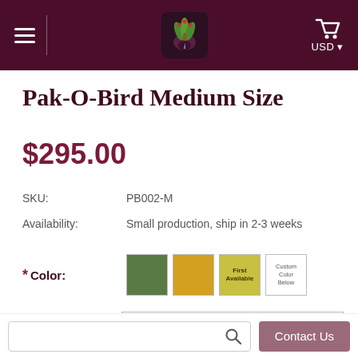Navigation header with hamburger menu, logo, cart and USD currency selector
Pak-O-Bird Medium Size
$295.00
SKU: PB002-M
Availability: Small production, ship in 2-3 weeks
* Color: [olive swatch] [yellow swatch] [First Available swatch] [Custom Color Below swatch]
* Approx. Perch
Choose Options
Search | Contact Us